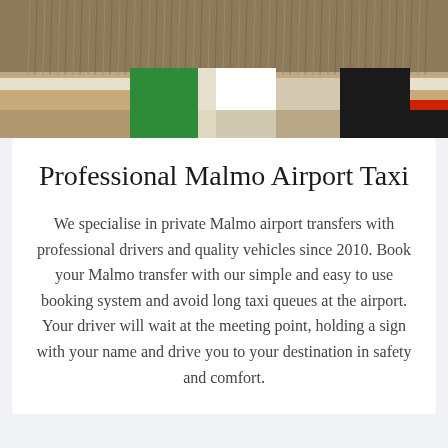[Figure (photo): A photograph showing what appears to be colorful painted blocks or structures — green, black, blue, red — with what looks like dry grass or reeds in the upper portion, photographed from a low angle.]
Professional Malmo Airport Taxi
We specialise in private Malmo airport transfers with professional drivers and quality vehicles since 2010. Book your Malmo transfer with our simple and easy to use booking system and avoid long taxi queues at the airport. Your driver will wait at the meeting point, holding a sign with your name and drive you to your destination in safety and comfort.